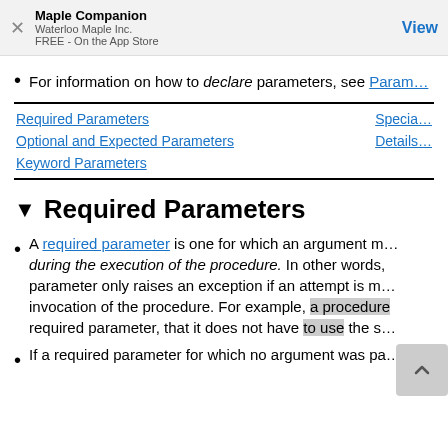Maple Companion
Waterloo Maple Inc.
FREE - On the App Store
View
For information on how to declare parameters, see Param…
| Required Parameters | Specia… |
| Optional and Expected Parameters | Details… |
| Keyword Parameters |  |
Required Parameters
A required parameter is one for which an argument m… during the execution of the procedure. In other words, parameter only raises an exception if an attempt is m… invocation of the procedure. For example, a procedure required parameter, that it does not have to use the s…
If a required parameter for which no argument was pa…